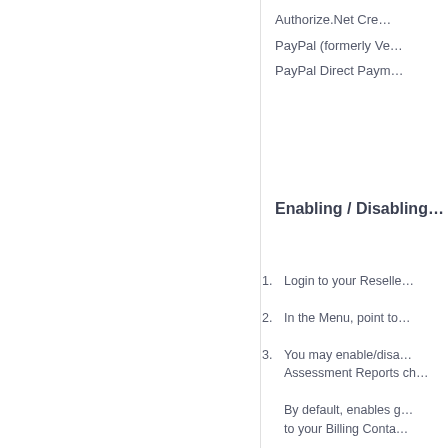Authorize.Net Cre…
PayPal (formerly Ve…
PayPal Direct Paym…
Enabling / Disabling…
1. Login to your Reselle…
2. In the Menu, point to…
3. You may enable/disa… Assessment Reports ch…
By default, enables g… to your Billing Conta…